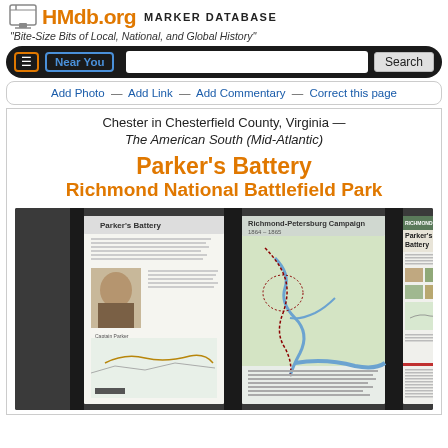HMdb.org MARKER DATABASE
"Bite-Size Bits of Local, National, and Global History"
Navigation bar: hamburger menu, Near You button, Search input, Search button
Add Photo — Add Link — Add Commentary — Correct this page
Chester in Chesterfield County, Virginia — The American South (Mid-Atlantic)
Parker's Battery Richmond National Battlefield Park
[Figure (photo): Photo of three interpretive marker panels at Parker's Battery, Richmond National Battlefield Park. Left panel: 'Parker's Battery' with text and portrait of a Civil War officer and a map. Center panel: 'Richmond-Petersburg Campaign 1864-1865' with a large campaign map showing troop movements. Right panel: 'Parker's Battery' with Richmond National Battlefield Park branding, text, and smaller photos and maps.]